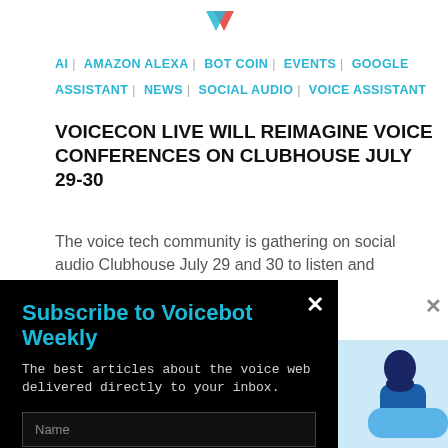[Figure (logo): Voicebot logo at top center, partially visible]
AI | AMAZON ALEXA | BOT COIN | EVENTS | GOOGLE ASSISTANT | NEWS | SOCIAL AUDIO | VOICE ASSISTANT
VOICECON LIVE WILL REIMAGINE VOICE CONFERENCES ON CLUBHOUSE JULY 29-30
The voice tech community is gathering on social audio Clubhouse July 29 and 30 to listen and converse with
[Figure (screenshot): Modal popup with black background titled 'Subscribe to Voicebot Weekly' with name field, email field, and subscribe button]
[Figure (illustration): Illustration of a person with blue background on the right side]